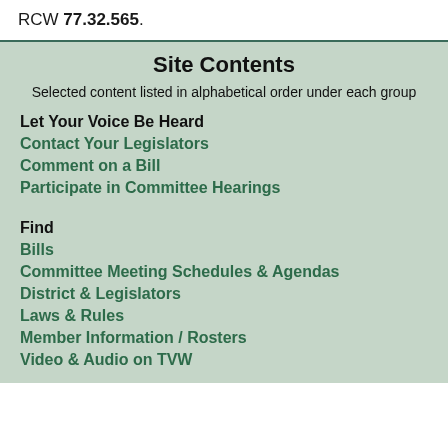RCW 77.32.565.
Site Contents
Selected content listed in alphabetical order under each group
Let Your Voice Be Heard
Contact Your Legislators
Comment on a Bill
Participate in Committee Hearings
Find
Bills
Committee Meeting Schedules & Agendas
District & Legislators
Laws & Rules
Member Information / Rosters
Video & Audio on TVW